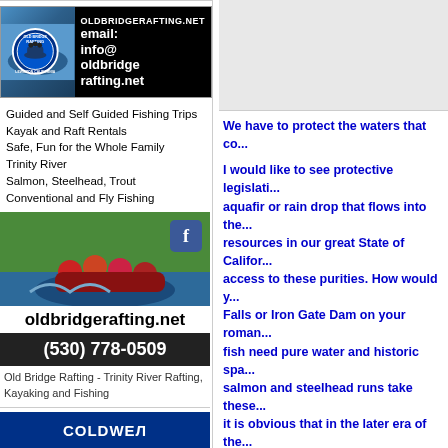[Figure (advertisement): Old Bridge Rafting advertisement with logo, rafting photo, contact info, services list, Facebook icon, website and phone number]
Guided and Self Guided Fishing Trips
Kayak and Raft Rentals
Safe, Fun for the Whole Family
Trinity River
Salmon, Steelhead, Trout
Conventional and Fly Fishing
Old Bridge Rafting - Trinity River Rafting, Kayaking and Fishing
[Figure (logo): Coldwell Banker logo (partial, blue background with white text)]
We have to protect the waters that co...
I would like to see protective legislati... aquafir or rain drop that flows into the... resources in our great State of Califor... access to these purities. How would y... Falls or Iron Gate Dam on your roman... fish need pure water and historic spa... salmon and steelhead runs take these... it is obvious that in the later era of the... up and we're heading for a bunch ste... Hillbillies one hit wonder)
I thought you might be getting a little ... seems the price of water gets more pr... have a thristy State to feed. The fish a... – so we say it let flow-bro!